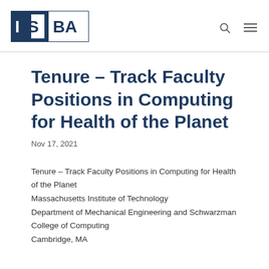[Figure (logo): ISBA logo — dark blue square with white 'IS' text on left, white rectangle with dark blue 'BA' text on right]
Tenure – Track Faculty Positions in Computing for Health of the Planet
Nov 17, 2021
Tenure – Track Faculty Positions in Computing for Health of the Planet
Massachusetts Institute of Technology
Department of Mechanical Engineering and Schwarzman College of Computing
Cambridge, MA